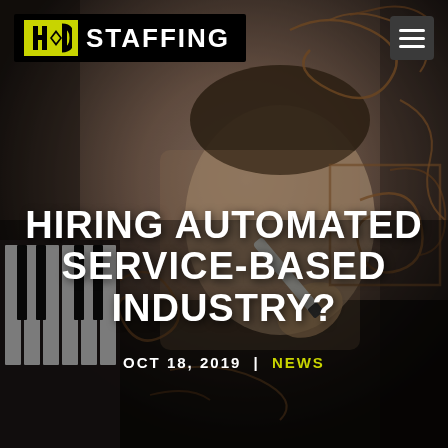[Figure (photo): Background photo of a young man holding a marker pen, appearing to write on a transparent glass surface with abstract scribble/loop drawings visible. Piano keys visible on the left side.]
HD STAFFING
HIRING AUTOMATED SERVICE-BASED INDUSTRY?
OCT 18, 2019 | NEWS